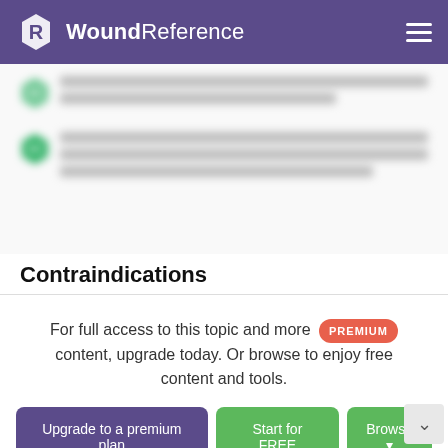WoundReference
[Figure (screenshot): Blurred content with two green hexagonal '1C' badges and blurred text lines, representing locked/premium content]
Contraindications
For full access to this topic and more PREMIUM content, upgrade today. Or browse to enjoy free content and tools.
Upgrade to a premium plan | Start for FREE | Browse
Already a member? Sign in